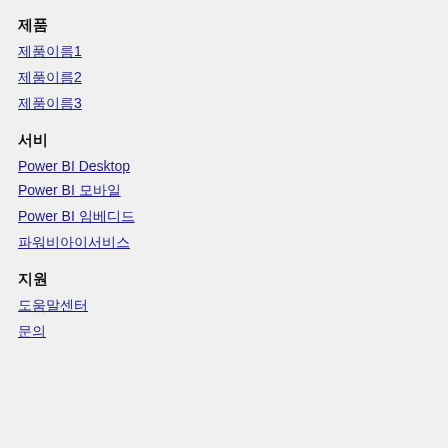제품
제품이름1
제품이름2
제품이름3
서비
Power BI Desktop
Power BI 모바일
Power BI 임베디드
파워비아이서비스
지원
도움말센터
문의